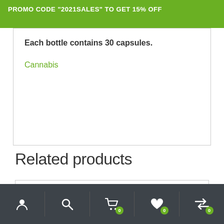PROMO CODE "2021SALES" TO GET 15% OFF
Each bottle contains 30 capsules.
Cannabis
Related products
[Figure (other): Empty related products card area]
Navigation bar with user, search, cart (0), wishlist (0), and compare (0) icons